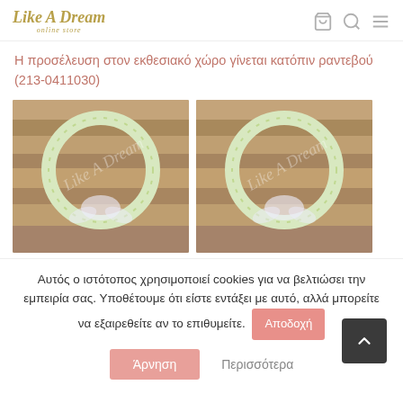Like A Dream online store
Η προσέλευση στον εκθεσιακό χώρο γίνεται κατόπιν ραντεβού (213-0411030)
[Figure (photo): Two product photos of white floral wreaths on a wooden background, each showing a circular wreath decorated with small white flowers and a white tulle ribbon, with 'Like A Dream' watermark.]
Αυτός ο ιστότοπος χρησιμοποιεί cookies για να βελτιώσει την εμπειρία σας. Υποθέτουμε ότι είστε εντάξει με αυτό, αλλά μπορείτε να εξαιρεθείτε αν το επιθυμείτε.
Αποδοχή
Άρνηση
Περισσότερα